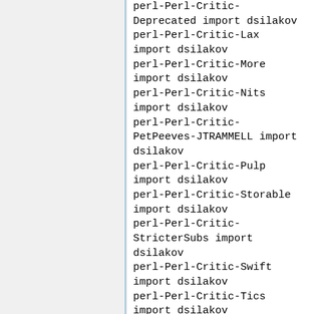perl-Perl-Critic-Deprecated import dsilakov
perl-Perl-Critic-Lax import dsilakov
perl-Perl-Critic-More import dsilakov
perl-Perl-Critic-Nits import dsilakov
perl-Perl-Critic-PetPeeves-JTRAMMELL import dsilakov
perl-Perl-Critic-Pulp import dsilakov
perl-Perl-Critic-Storable import dsilakov
perl-Perl-Critic-StricterSubs import dsilakov
perl-Perl-Critic-Swift import dsilakov
perl-Perl-Critic-Tics import dsilakov
perl-PerlIO-eol import dsilakov
perl-PerlIO-via-Bzip2